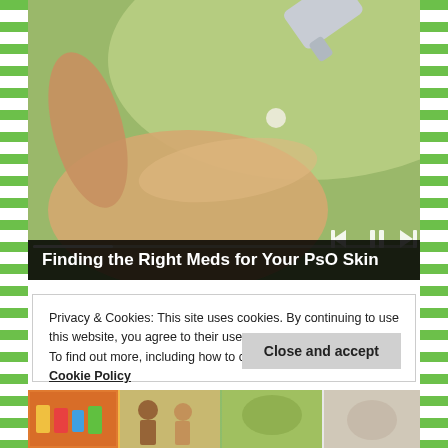[Figure (photo): A person applying cream from a tube to their palm, set against a green outdoor background. Video player controls (previous, pause, next) and a progress bar are visible at the bottom of the image.]
Finding the Right Meds for Your PsO Skin
Privacy & Cookies: This site uses cookies. By continuing to use this website, you agree to their use.
To find out more, including how to control cookies, see here: Cookie Policy
[Figure (photo): Bottom strip showing partial images of various scenes including people outdoors.]